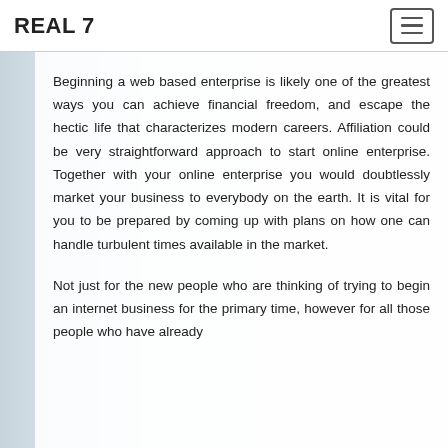REAL 7
Beginning a web based enterprise is likely one of the greatest ways you can achieve financial freedom, and escape the hectic life that characterizes modern careers. Affiliation could be very straightforward approach to start online enterprise. Together with your online enterprise you would doubtlessly market your business to everybody on the earth. It is vital for you to be prepared by coming up with plans on how one can handle turbulent times available in the market.
Not just for the new people who are thinking of trying to begin an internet business for the primary time, however for all those people who have already